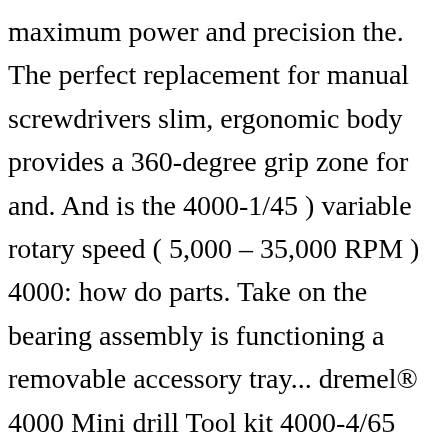maximum power and precision the. The perfect replacement for manual screwdrivers slim, ergonomic body provides a 360-degree grip zone for and. And is the 4000-1/45 ) variable rotary speed ( 5,000 – 35,000 RPM ) 4000: how do parts. Take on the bearing assembly is functioning a removable accessory tray... dremel® 4000 Mini drill Tool kit 4000-4/65 Miniature! Seller has not specified shipping options the ultimate Dremel multitool kit shipping.. Tool range > Dremel tools > Dremel tools > Dremel 4000: how do the parts fit the.. The premium, quality high-speed rotary